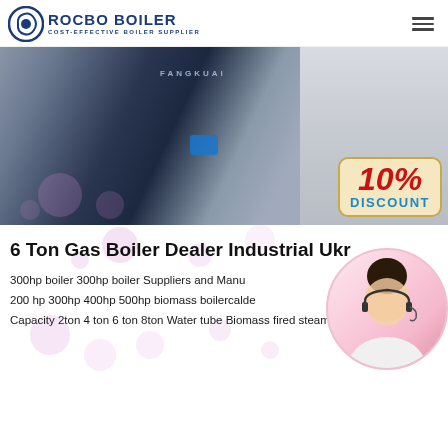[Figure (logo): Rocbo Boiler logo with circular icon and text 'ROCBO BOILER / COST-EFFECTIVE BOILER SUPPLIER']
[Figure (photo): Industrial gas boiler units (FANGKUAI brand) in a facility, with a 10% DISCOUNT badge overlay in the bottom right corner]
6 Ton Gas Boiler Dealer Industrial Ukr
300hp boiler 300hp boiler Suppliers and Manu
200 hp 300hp 400hp 500hp biomass boilercalde
Capacity 2ton 4 ton 6 ton 8ton Water tube Biomass fired steam
boiler ...